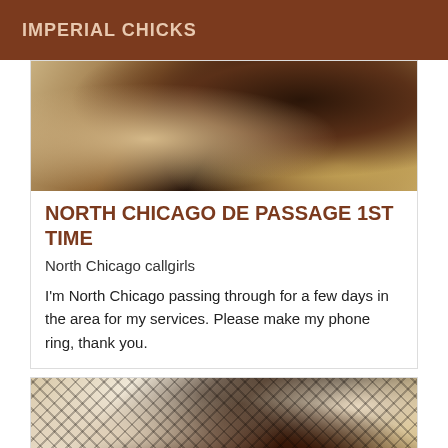IMPERIAL CHICKS
[Figure (photo): Close-up photo of a person's legs in fishnet stockings on a bed with white linens and fabric in the background]
NORTH CHICAGO DE PASSAGE 1ST TIME
North Chicago callgirls
I'm North Chicago passing through for a few days in the area for my services. Please make my phone ring, thank you.
[Figure (photo): Close-up photo of a person's legs in fishnet stockings lying on a white bed]